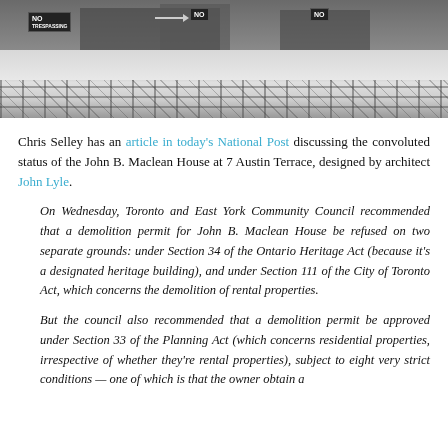[Figure (photo): Photograph of a fenced property in winter/snow with multiple 'NO' signs visible on the fence]
Chris Selley has an article in today's National Post discussing the convoluted status of the John B. Maclean House at 7 Austin Terrace, designed by architect John Lyle.
On Wednesday, Toronto and East York Community Council recommended that a demolition permit for John B. Maclean House be refused on two separate grounds: under Section 34 of the Ontario Heritage Act (because it's a designated heritage building), and under Section 111 of the City of Toronto Act, which concerns the demolition of rental properties.
But the council also recommended that a demolition permit be approved under Section 33 of the Planning Act (which concerns residential properties, irrespective of whether they're rental properties), subject to eight very strict conditions — one of which is that the owner obtain a